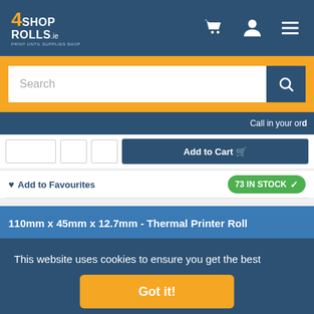4SHOP4ROLLS.ie - PRINT UNTIL SUPPLIES SHOP - navigation header with cart, account, and menu icons
Search
Call in your ord
Add to Cart
Add to Favourites
73 IN STOCK ✓
110mm x 45mm x 12.7mm - Thermal Printer Roll
20 ROLLS PER BOX
This website uses cookies to ensure you get the best experience on our website. Learn more
Got it!
€33.95